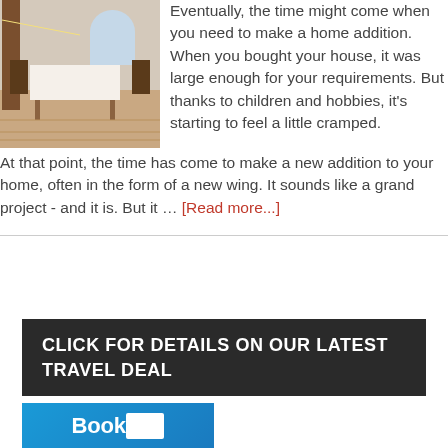[Figure (photo): Interior room with wooden floors, dining table with white tablecloth, chairs, arched window, string lights on wooden columns]
Eventually, the time might come when you need to make a home addition. When you bought your house, it was large enough for your requirements. But thanks to children and hobbies, it's starting to feel a little cramped. At that point, the time has come to make a new addition to your home, often in the form of a new wing. It sounds like a grand project - and it is. But it … [Read more...]
CLICK FOR DETAILS ON OUR LATEST TRAVEL DEAL
[Figure (logo): BookVIP logo on blue background]